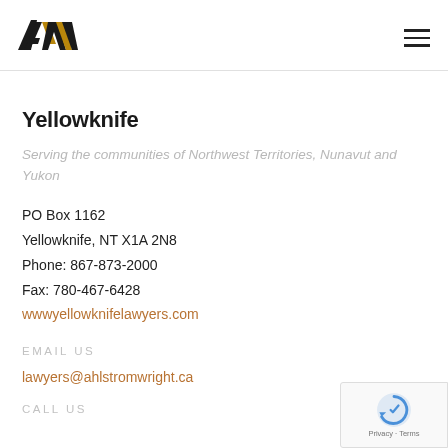[Figure (logo): AW logo — stylized A and W letters in black and gold/bronze, representing Ahlstrom Wright law firm]
Yellowknife
Serving the communities of Northwest Territories, Nunavut and Yukon
PO Box 1162
Yellowknife, NT X1A 2N8
Phone: 867-873-2000
Fax: 780-467-6428
wwwyellowknifelawyers.com
EMAIL US
lawyers@ahlstromwright.ca
CALL US